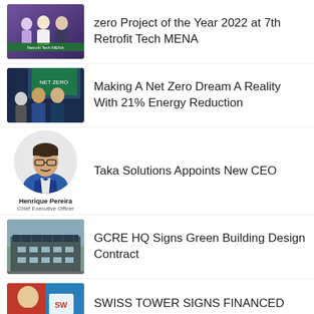[Figure (photo): Award ceremony photo with people in formal attire at Retrofit Tech MENA event]
zero Project of the Year 2022 at 7th Retrofit Tech MENA
[Figure (photo): Two men at an event, one wearing a suit, standing in front of a screen]
Making A Net Zero Dream A Reality With 21% Energy Reduction
[Figure (photo): Circular headshot of Henrique Pereira, Chief Executive Officer]
Taka Solutions Appoints New CEO
[Figure (photo): Aerial view of GCRE HQ building with solar panels on roof]
GCRE HQ Signs Green Building Design Contract
[Figure (photo): Photo related to Swiss Tower with red and blue design elements]
SWISS TOWER SIGNS FINANCED